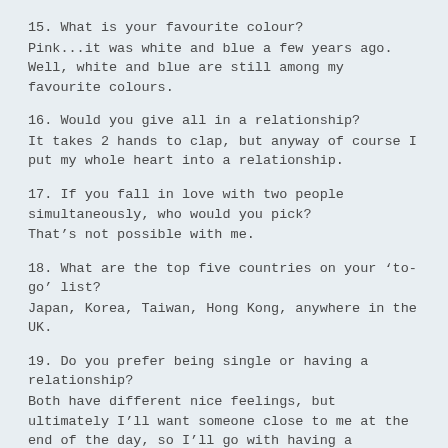15. What is your favourite colour?
Pink...it was white and blue a few years ago. Well, white and blue are still among my favourite colours.
16. Would you give all in a relationship?
It takes 2 hands to clap, but anyway of course I put my whole heart into a relationship.
17. If you fall in love with two people simultaneously, who would you pick?
That's not possible with me.
18. What are the top five countries on your 'to-go' list?
Japan, Korea, Taiwan, Hong Kong, anywhere in the UK.
19. Do you prefer being single or having a relationship?
Both have different nice feelings, but ultimately I'll want someone close to me at the end of the day, so I'll go with having a relationship.